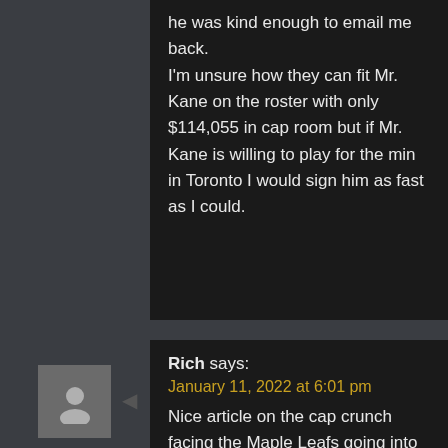he was kind enough to email me back.

I'm unsure how they can fit Mr. Kane on the roster with only $114,055 in cap room but if Mr. Kane is willing to play for the min in Toronto I would sign him as fast as I could.
[Figure (illustration): Generic user avatar silhouette in a grey square box]
Rich says:
January 11, 2022 at 6:01 pm
Nice article on the cap crunch facing the Maple Leafs going into next season.